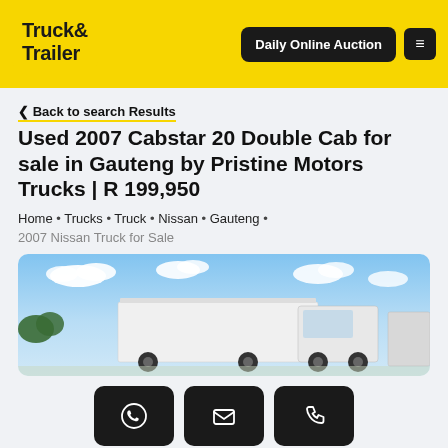Truck & Trailer | Daily Online Auction
< Back to search Results
Used 2007 Cabstar 20 Double Cab for sale in Gauteng by Pristine Motors Trucks | R 199,950
Home • Trucks • Truck • Nissan • Gauteng • 2007 Nissan Truck for Sale
[Figure (photo): Photo of a white Nissan Cabstar 20 Double Cab truck with a box body, parked outdoors under a blue sky with clouds]
WhatsApp, Email, Phone contact buttons